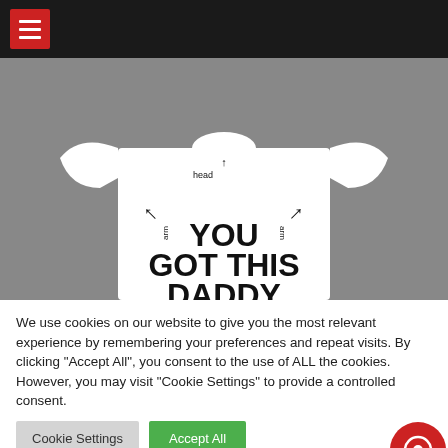Navigation bar with hamburger menu
[Figure (photo): White baby onesie on grey background with arrows labeled 'head', 'arm', 'arm' and text 'YOU GOT THIS DADDY']
We use cookies on our website to give you the most relevant experience by remembering your preferences and repeat visits. By clicking "Accept All", you consent to the use of ALL the cookies. However, you may visit "Cookie Settings" to provide a controlled consent.
Cookie Settings | Accept All